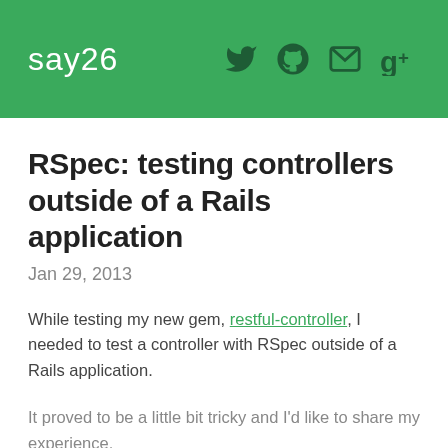say26
RSpec: testing controllers outside of a Rails application
Jan 29, 2013
While testing my new gem, restful-controller, I needed to test a controller with RSpec outside of a Rails application.
It proved to be a little bit tricky and I'd like to share my experience.
Gems